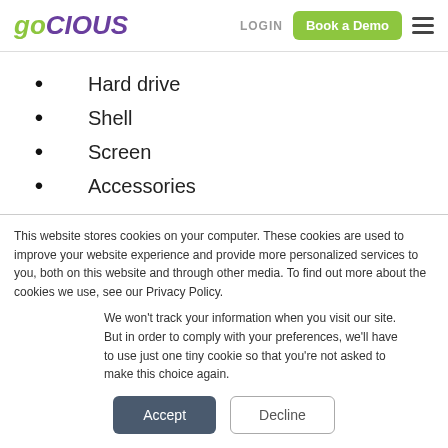goCIOUS | LOGIN | Book a Demo
Hard drive
Shell
Screen
Accessories
This website stores cookies on your computer. These cookies are used to improve your website experience and provide more personalized services to you, both on this website and through other media. To find out more about the cookies we use, see our Privacy Policy.
We won't track your information when you visit our site. But in order to comply with your preferences, we'll have to use just one tiny cookie so that you're not asked to make this choice again.